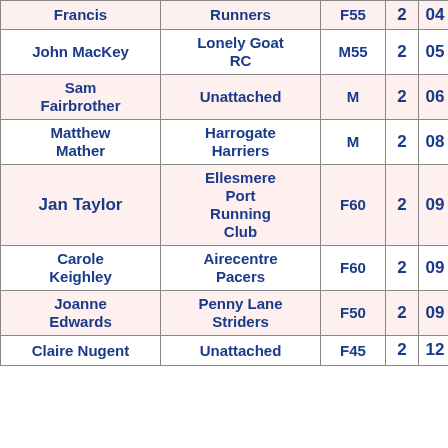| Name | Club | Cat | H | M | S |
| --- | --- | --- | --- | --- | --- |
| Francis | Runners | F55 | 2 | 04 | 22 |
| John MacKey | Lonely Goat RC | M55 | 2 | 05 | 22 |
| Sam Fairbrother | Unattached | M | 2 | 06 | 46 |
| Matthew Mather | Harrogate Harriers | M | 2 | 08 | 54 |
| Jan Taylor | Ellesmere Port Running Club | F60 | 2 | 09 | 08 |
| Carole Keighley | Airecentre Pacers | F60 | 2 | 09 | 21 |
| Joanne Edwards | Penny Lane Striders | F50 | 2 | 09 | 39 |
| Claire Nugent | Unattached | F45 | 2 | 12 | 02 |